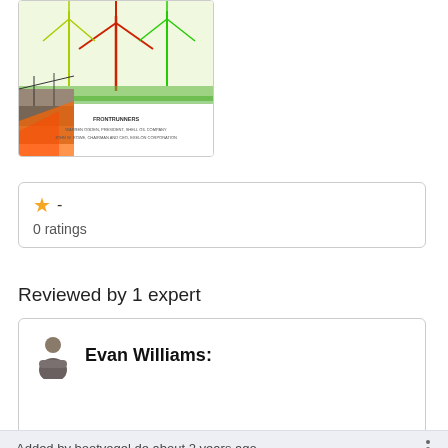[Figure (illustration): Book cover with colorful wind turbine / energy graphic illustration in green, yellow, red colors with small text showing author names at bottom]
★ -
0 ratings
Reviewed by 1 expert
Evan Williams:
Added by bootvogel.de about 2 years ago
Summary in productivity